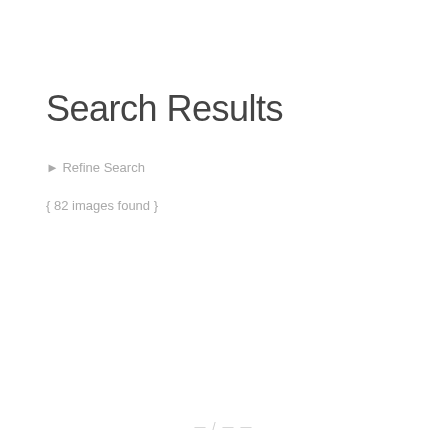Search Results
▶ Refine Search
{ 82 images found }
— / — —